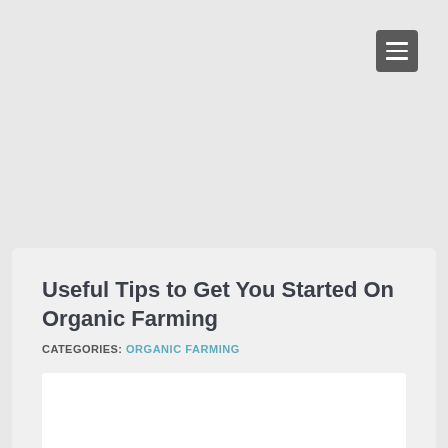[Figure (other): Hamburger menu icon button in dark gray, top-right corner]
Useful Tips to Get You Started On Organic Farming
CATEGORIES: ORGANIC FARMING
[Figure (photo): White image placeholder area at bottom of card]